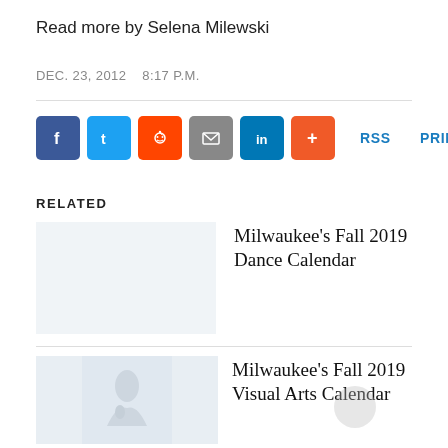Read more by Selena Milewski
DEC. 23, 2012   8:17 P.M.
[Figure (other): Social sharing buttons: Facebook, Twitter, Reddit, Email, LinkedIn, More (+), RSS, PRINT]
RELATED
Milwaukee's Fall 2019 Dance Calendar
Milwaukee's Fall 2019 Visual Arts Calendar
Charles Allis and Villa Terrace